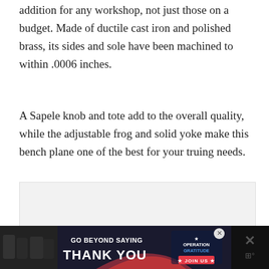addition for any workshop, not just those on a budget. Made of ductile cast iron and polished brass, its sides and sole have been machined to within .0006 inches.
A Sapele knob and tote add to the overall quality, while the adjustable frog and solid yoke make this bench plane one of the best for your truing needs.
[Figure (photo): Gray placeholder image box, likely for a product photo of a bench plane]
[Figure (photo): Advertisement banner at bottom: 'GO BEYOND SAYING THANK YOU' Operation Gratitude JOIN US banner with people in background on dark background]